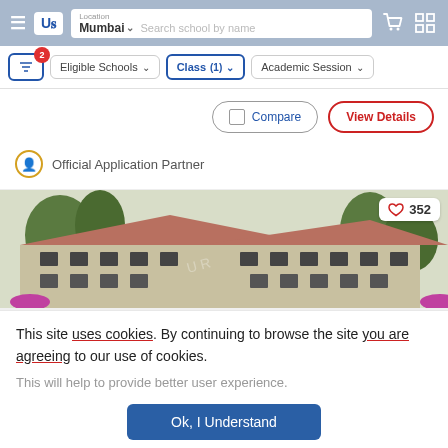Navigation bar with hamburger menu, UR logo, Location: Mumbai, search school by name, cart and grid icons
Eligible Schools | Class (1) | Academic Session — filter bar with 2 active filters
Compare | View Details buttons
Official Application Partner
[Figure (photo): School building exterior — multi-storey building with red/brown roof, surrounded by trees and flowering plants]
352 likes
This site uses cookies. By continuing to browse the site you are agreeing to our use of cookies.
This will help to provide better user experience.
Ok, I Understand